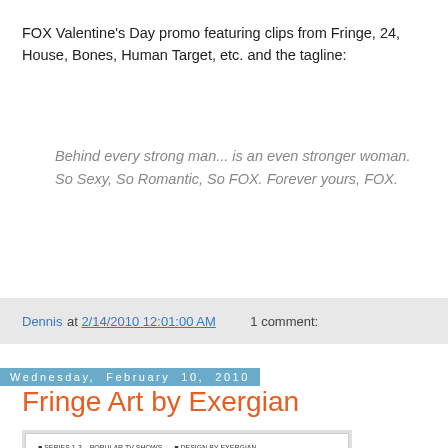FOX Valentine's Day promo featuring clips from Fringe, 24, House, Bones, Human Target, etc. and the tagline:
Behind every strong man... is an even stronger woman. So Sexy, So Romantic, So FOX. Forever yours, FOX.
Dennis at 2/14/2010 12:01:00 AM    1 comment:
Wednesday, February 10, 2010
Fringe Art by Exergian
[Figure (other): Fringe art poster with text 'FRINGE' in bold and small label text above]